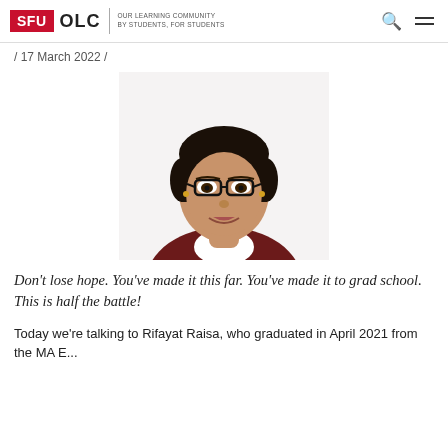SFU OLC | OUR LEARNING COMMUNITY BY STUDENTS, FOR STUDENTS
/ 17 March 2022 /
[Figure (photo): Headshot portrait of Rifayat Raisa, a young woman with short dark hair, glasses, wearing a dark maroon top with white collar, smiling against a white background.]
Don't lose hope. You've made it this far. You've made it to grad school. This is half the battle!
Today we're talking to Rifayat Raisa, who graduated in April 2021 from the MA E...